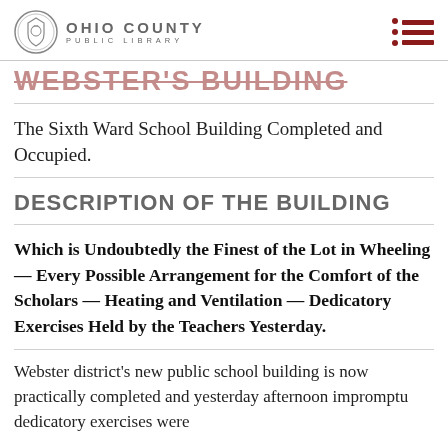OHIO COUNTY PUBLIC LIBRARY
WEBSTER'S BUILDING
The Sixth Ward School Building Completed and Occupied.
DESCRIPTION OF THE BUILDING
Which is Undoubtedly the Finest of the Lot in Wheeling — Every Possible Arrangement for the Comfort of the Scholars — Heating and Ventilation — Dedicatory Exercises Held by the Teachers Yesterday.
Webster district's new public school building is now practically completed and yesterday afternoon impromptu dedicatory exercises were